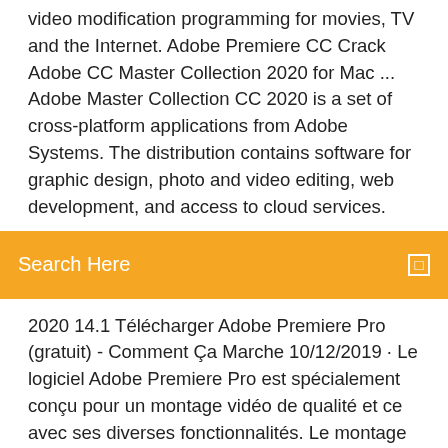video modification programming for movies, TV and the Internet. Adobe Premiere CC Crack Adobe CC Master Collection 2020 for Mac ... Adobe Master Collection CC 2020 is a set of cross-platform applications from Adobe Systems. The distribution contains software for graphic design, photo and video editing, web development, and access to cloud services.
Search Here
2020 14.1 Télécharger Adobe Premiere Pro (gratuit) - Comment Ça Marche 10/12/2019 · Le logiciel Adobe Premiere Pro est spécialement conçu pour un montage vidéo de qualité et ce avec ses diverses fonctionnalités. Le montage et même l'édition vidéo nécessite un outil Adobe Creative Cloud Crack 2020 Win+Mac Key - ...
Mar 10, 2020 Please turn off vpn/proxy for the comfortable links work ⬇Download https://bit.ly/ Adobe-Premiere-mega Download Feb 9, 2020 How to Download Adobe Premiere Pro CC 2020